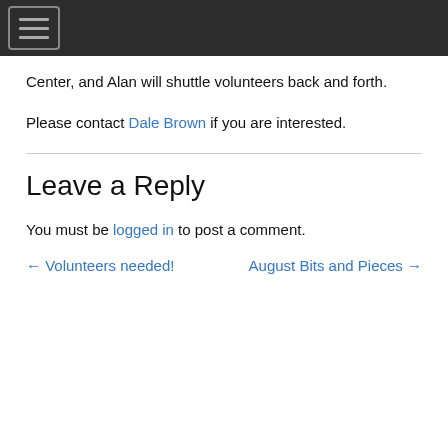[navigation bar with hamburger menu]
Center, and Alan will shuttle volunteers back and forth.
Please contact Dale Brown if you are interested.
Leave a Reply
You must be logged in to post a comment.
← Volunteers needed!    August Bits and Pieces →